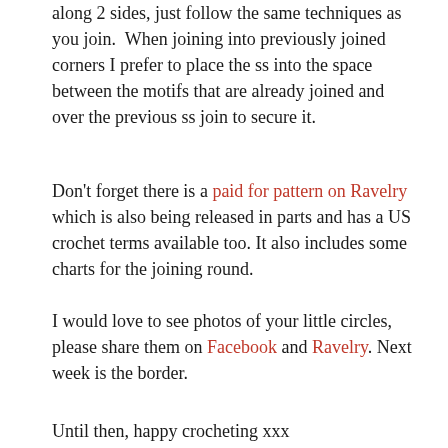along 2 sides, just follow the same techniques as you join.  When joining into previously joined corners I prefer to place the ss into the space between the motifs that are already joined and over the previous ss join to secure it.
Don't forget there is a paid for pattern on Ravelry which is also being released in parts and has a US crochet terms available too. It also includes some charts for the joining round.
I would love to see photos of your little circles, please share them on Facebook and Ravelry. Next week is the border.
Until then, happy crocheting xxx